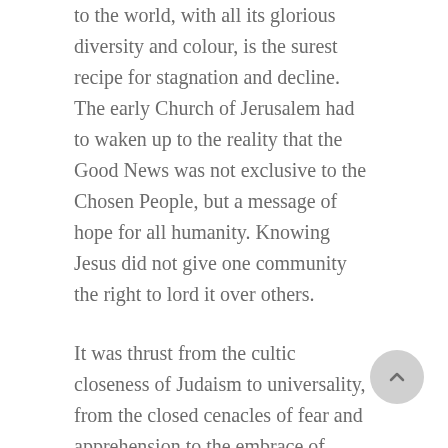to the world, with all its glorious diversity and colour, is the surest recipe for stagnation and decline. The early Church of Jerusalem had to waken up to the reality that the Good News was not exclusive to the Chosen People, but a message of hope for all humanity. Knowing Jesus did not give one community the right to lord it over others.
It was thrust from the cultic closeness of Judaism to universality, from the closed cenacles of fear and apprehension to the embrace of diversity. It is an invitation the same Church continues to receive today. A gust of wind blowing in into the cenacles of our fears. It is message for our nation too, as it opens up. A invitation to not cling to what used to work